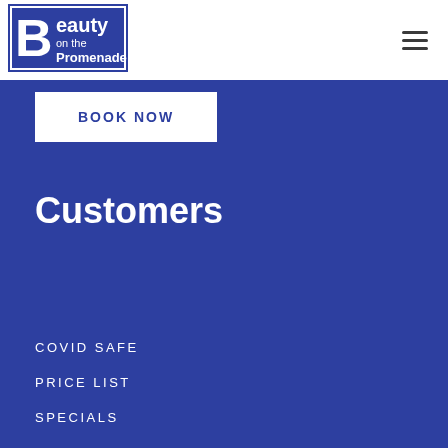[Figure (logo): Beauty on the Promenade logo — dark blue square with stylized 'B' and text 'Beauty on the Promenade']
BOOK NOW
Customers
COVID SAFE
PRICE LIST
SPECIALS
GIFT VOUCHERS